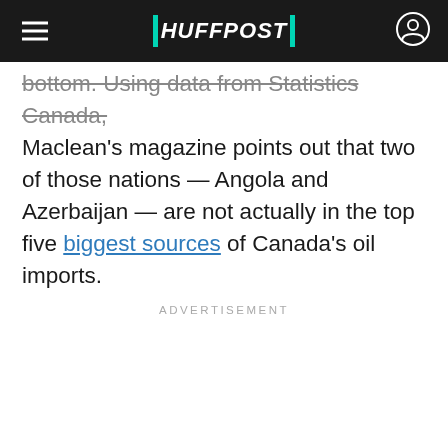HUFFPOST
bottom. Using data from Statistics Canada, Maclean's magazine points out that two of those nations — Angola and Azerbaijan — are not actually in the top five biggest sources of Canada's oil imports.
ADVERTISEMENT